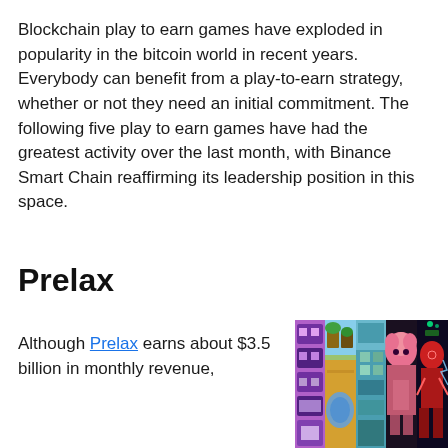Blockchain play to earn games have exploded in popularity in the bitcoin world in recent years. Everybody can benefit from a play-to-earn strategy, whether or not they need an initial commitment. The following five play to earn games have had the greatest activity over the last month, with Binance Smart Chain reaffirming its leadership position in this space.
Prelax
Although Prelax earns about $3.5 billion in monthly revenue,
[Figure (photo): Collage of five blockchain game screenshots side by side showing colorful pixel art characters, fantasy landscapes, isometric city-builder scenes, anime-style characters, and superhero figures.]